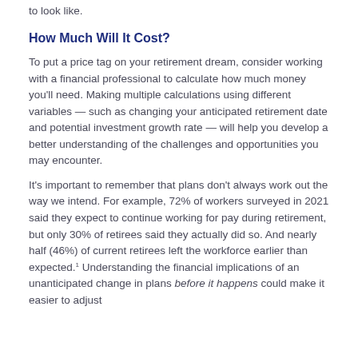to look like.
How Much Will It Cost?
To put a price tag on your retirement dream, consider working with a financial professional to calculate how much money you'll need. Making multiple calculations using different variables — such as changing your anticipated retirement date and potential investment growth rate — will help you develop a better understanding of the challenges and opportunities you may encounter.
It's important to remember that plans don't always work out the way we intend. For example, 72% of workers surveyed in 2021 said they expect to continue working for pay during retirement, but only 30% of retirees said they actually did so. And nearly half (46%) of current retirees left the workforce earlier than expected.1 Understanding the financial implications of an unanticipated change in plans before it happens could make it easier to adjust